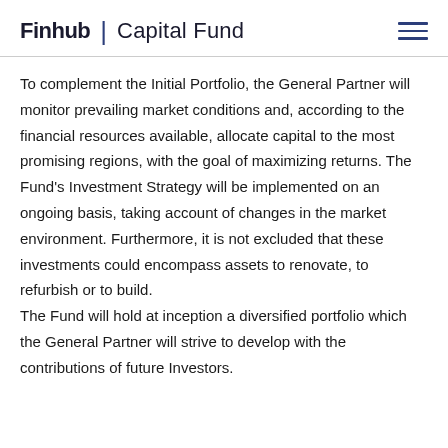Finhub | Capital Fund
To complement the Initial Portfolio, the General Partner will monitor prevailing market conditions and, according to the financial resources available, allocate capital to the most promising regions, with the goal of maximizing returns. The Fund's Investment Strategy will be implemented on an ongoing basis, taking account of changes in the market environment. Furthermore, it is not excluded that these investments could encompass assets to renovate, to refurbish or to build. The Fund will hold at inception a diversified portfolio which the General Partner will strive to develop with the contributions of future Investors.